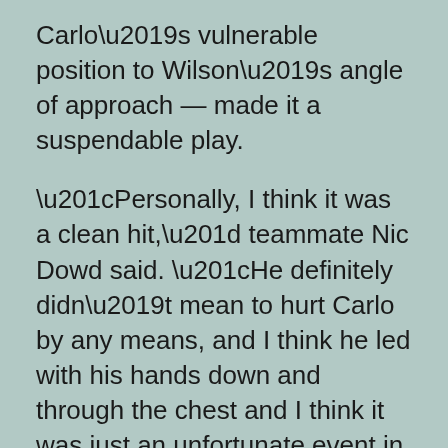Carlo’s vulnerable position to Wilson’s angle of approach — made it a suspendable play.
“Personally, I think it was a clean hit,” teammate Nic Dowd said. “He definitely didn’t mean to hurt Carlo by any means, and I think he led with his hands down and through the chest and I think it was just an unfortunate event in how it ended.”
Carlo’s injury factored into the length of Wilson’s suspension. Bruins coach Bruce Cassidy said Carlo was back home and did not attend practice.